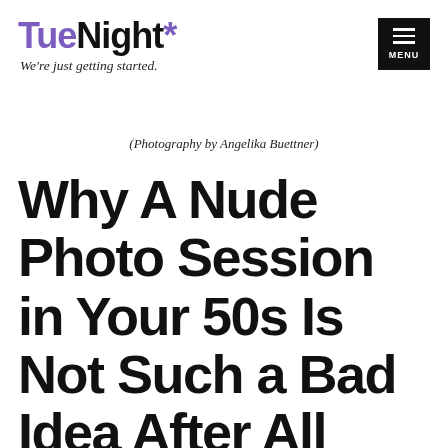TueNight* — We're just getting started.
(Photography by Angelika Buettner)
Why A Nude Photo Session in Your 50s Is Not Such a Bad Idea After All
BY DIANE DI COSTANZO